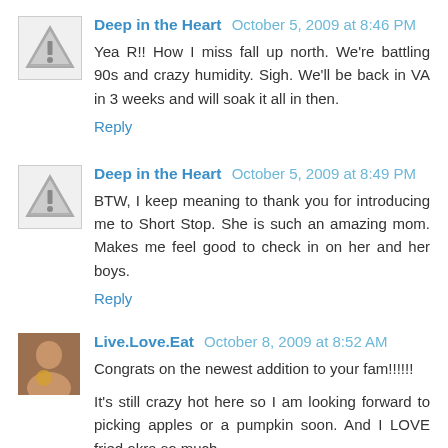[Figure (illustration): Warning triangle icon (grey avatar placeholder)]
Deep in the Heart October 5, 2009 at 8:46 PM
Yea R!! How I miss fall up north. We're battling 90s and crazy humidity. Sigh. We'll be back in VA in 3 weeks and will soak it all in then.
Reply
[Figure (illustration): Warning triangle icon (grey avatar placeholder)]
Deep in the Heart October 5, 2009 at 8:49 PM
BTW, I keep meaning to thank you for introducing me to Short Stop. She is such an amazing mom. Makes me feel good to check in on her and her boys.
Reply
[Figure (photo): Photo of a person holding a drink]
Live.Love.Eat October 8, 2009 at 8:52 AM
Congrats on the newest addition to your fam!!!!!!
It's still crazy hot here so I am looking forward to picking apples or a pumpkin soon. And I LOVE fried okra so much, i...